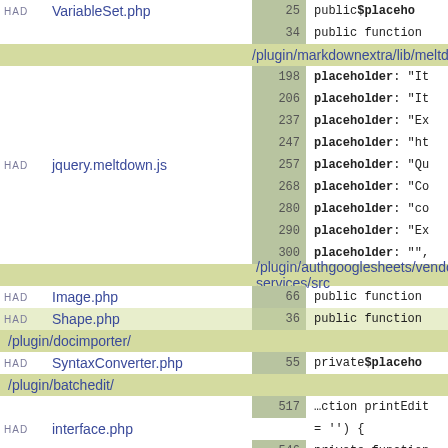| Status | File | Line | Code |
| --- | --- | --- | --- |
| HAD | VariableSet.php | 25 | public $placeholder |
|  |  | 34 | public function |
| /plugin/markdownextra/lib/meltdown/js/ |  |  |  |
|  |  | 198 | placeholder: "It |
|  |  | 206 | placeholder: "It |
|  |  | 237 | placeholder: "Ex |
|  |  | 247 | placeholder: "ht |
| HAD | jquery.meltdown.js | 257 | placeholder: "Qu |
|  |  | 268 | placeholder: "Co |
|  |  | 280 | placeholder: "co |
|  |  | 290 | placeholder: "Ex |
|  |  | 300 | placeholder: "", |
| /plugin/authgooglesheets/vendor/google/apiclient-services/src |  |  |  |
| HAD | Image.php | 66 | public function |
| HAD | Shape.php | 36 | public function |
| /plugin/docimporter/ |  |  |  |
| HAD | SyntaxConverter.php | 55 | private $placeho |
| /plugin/batchedit/ |  |  |  |
|  |  | 517 | …ction printEdit |
| HAD | interface.php |  | = '') { |
|  |  | 546 | private function |
| /plugin/datatables/assets/datatables.net-fixedheader/js/ |  |  |  |
|  | 6 | …().body(),tfoo |  |